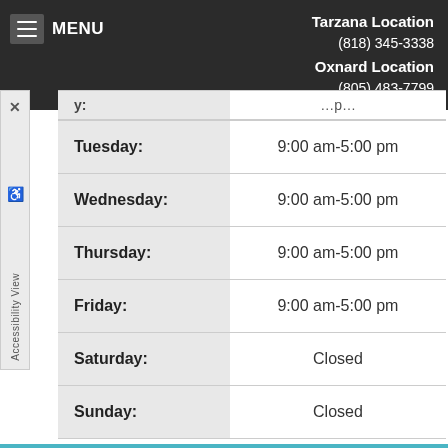MENU | Tarzana Location (818) 345-3338 Oxnard Location (805) 483-7799
| Day | Hours |
| --- | --- |
| Tuesday: | 9:00 am-5:00 pm |
| Wednesday: | 9:00 am-5:00 pm |
| Thursday: | 9:00 am-5:00 pm |
| Friday: | 9:00 am-5:00 pm |
| Saturday: | Closed |
| Sunday: | Closed |